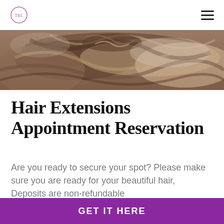Logo and navigation menu
[Figure (photo): Close-up photo of hair, showing braided/styled brown and blonde hair texture from above]
Hair Extensions Appointment Reservation
Are you ready to secure your spot? Please make sure you are ready for your beautiful hair, Deposits are non-refundable
GET IT HERE